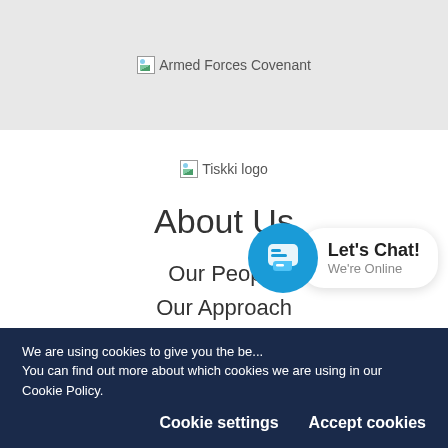[Figure (logo): Armed Forces Covenant broken image placeholder with text 'Armed Forces Covenant']
[Figure (logo): Tiskki logo broken image placeholder with text 'Tiskki logo']
About Us
Our People
Our Approach
Work for Tiskki
[Figure (illustration): Live chat widget showing a blue circle with speech bubble icon and a white box with 'Let's Chat!' and 'We're Online']
We are using cookies to give you the best experience on our website. You can find out more about which cookies we are using in our Cookie Policy.
Cookie settings    Accept cookies